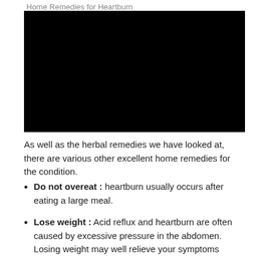Home Remedies for Heartburn
[Figure (photo): Black rectangular image area, content not visible]
As well as the herbal remedies we have looked at, there are various other excellent home remedies for the condition.
Do not overeat : heartburn usually occurs after eating a large meal.
Lose weight : Acid reflux and heartburn are often caused by excessive pressure in the abdomen. Losing weight may well relieve your symptoms